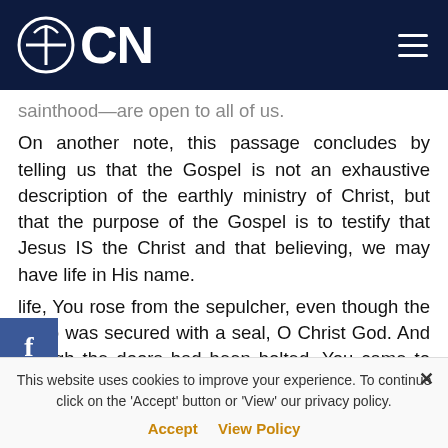OCN
sainthood—are open to all of us.
On another note, this passage concludes by telling us that the Gospel is not an exhaustive description of the earthly ministry of Christ, but that the purpose of the Gospel is to testify that Jesus IS the Christ and that believing, we may have life in His name.
life, You rose from the sepulcher, even though the tomb was secured with a seal, O Christ God. And though the doors had been bolted, You came to Your disciples, O Resurrection of all. Through them You renew a right spirit in us, according to Your great mercy. (Apolytikion of Thomas Sunday, Tone 1, St. Seraphim's Beka)
This website uses cookies to improve your experience. To continue click on the 'Accept' button or 'View' our privacy policy.
Accept   View Policy